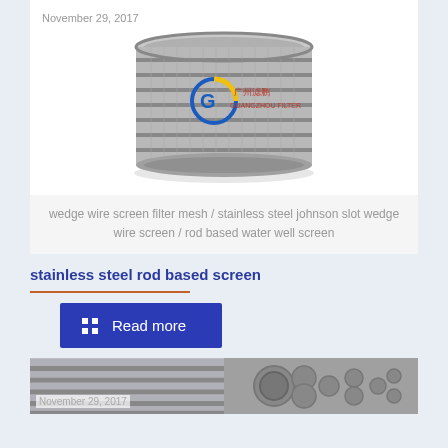[Figure (photo): Cylindrical stainless steel wedge wire screen filter mesh with watermark logo]
wedge wire screen filter mesh / stainless steel johnson slot wedge wire screen / rod based water well screen
stainless steel rod based screen
Read more
[Figure (photo): Two photos side by side: left shows a ribbed cylindrical metal screen, right shows an end view of stainless steel tube bundle]
November 29, 2017